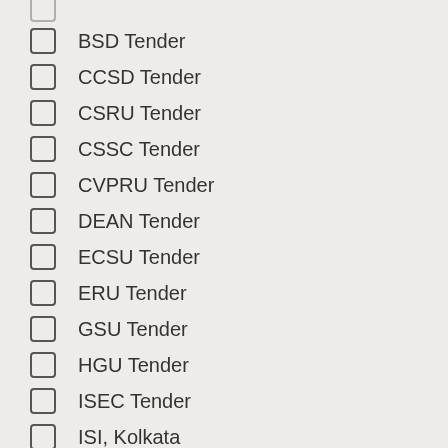(partially visible)
BSD Tender
CCSD Tender
CSRU Tender
CSSC Tender
CVPRU Tender
DEAN Tender
ECSU Tender
ERU Tender
GSU Tender
HGU Tender
ISEC Tender
ISI, Kolkata
ISRU Tender
LDISD Tender
LRU Tender
MIU Tender
RAMU Tender (partially visible)